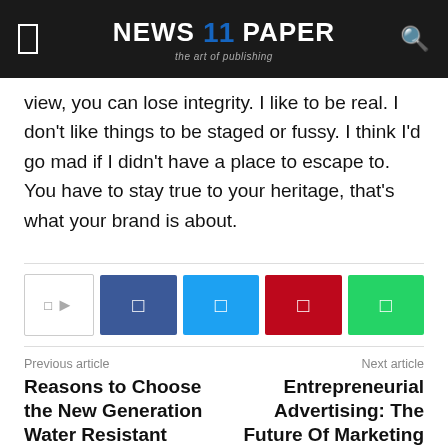NEWS 11 PAPER — the art of publishing
view, you can lose integrity. I like to be real. I don't like things to be staged or fussy. I think I'd go mad if I didn't have a place to escape to. You have to stay true to your heritage, that's what your brand is about.
[Figure (other): Social share bar with share count box and social media buttons: Facebook (purple/blue), Twitter (light blue), Pinterest (red), WhatsApp (green)]
Previous article
Reasons to Choose the New Generation Water Resistant Phones
Next article
Entrepreneurial Advertising: The Future Of Marketing